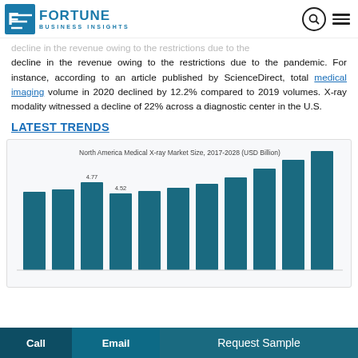Fortune Business Insights
decline in the revenue owing to the restrictions due to the pandemic. For instance, according to an article published by ScienceDirect, total medical imaging volume in 2020 declined by 12.2% compared to 2019 volumes. X-ray modality witnessed a decline of 22% across a diagnostic center in the U.S.
LATEST TRENDS
[Figure (bar-chart): North America Medical X-ray Market Size, 2017-2028 (USD Billion)]
Call  Email  Request Sample